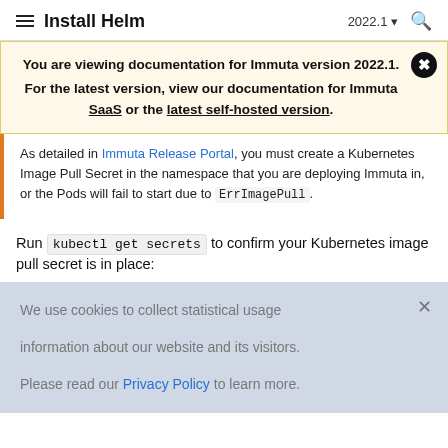Install Helm  2022.1  🔍
You are viewing documentation for Immuta version 2022.1. For the latest version, view our documentation for Immuta SaaS or the latest self-hosted version.
As detailed in Immuta Release Portal, you must create a Kubernetes Image Pull Secret in the namespace that you are deploying Immuta in, or the Pods will fail to start due to ErrImagePull.
Run kubectl get secrets to confirm your Kubernetes image pull secret is in place:
We use cookies to collect statistical usage information about our website and its visitors. Please read our Privacy Policy to learn more.